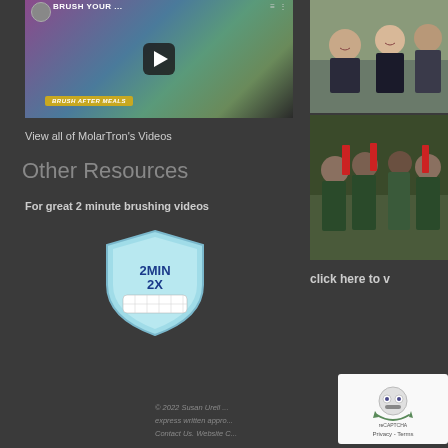[Figure (screenshot): Video thumbnail showing animated character with text 'BRUSH YOUR...' and 'BRUSH AFTER MEALS' banner, with play button overlay]
View all of MolarTron's Videos
Other Resources
For great 2 minute brushing videos
[Figure (logo): 2MIN 2X badge logo - shield shape with teeth/grid graphic and text '2MIN 2X']
[Figure (photo): Photo of smiling children/girls in what appears to be a classroom setting]
[Figure (photo): Photo of African children holding red items, smiling]
click here to v
© 2022 Susan Urell... express written appro... Contact Us. Website C...
[Figure (screenshot): reCAPTCHA widget showing robot/puzzle icon with Privacy - Terms text]